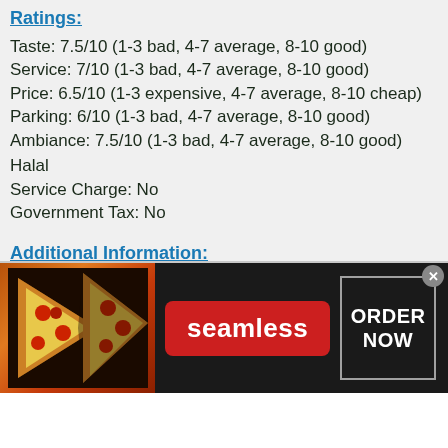Ratings:
Taste: 7.5/10 (1-3 bad, 4-7 average, 8-10 good)
Service: 7/10 (1-3 bad, 4-7 average, 8-10 good)
Price: 6.5/10 (1-3 expensive, 4-7 average, 8-10 cheap)
Parking: 6/10 (1-3 bad, 4-7 average, 8-10 good)
Ambiance: 7.5/10 (1-3 bad, 4-7 average, 8-10 good)
Halal
Service Charge: No
Government Tax: No
Additional Information:
Address: No. 27, Jalan Khoo Sian Ewe, 10050, Georgetown, Penan
Business Hours: 8 am to 3 pm on Mondays to Thursdays; 8 am to and Sundays. Opens Daily.
Contact Number: 604- 261 0173
[Figure (screenshot): Seamless food ordering advertisement banner with pizza image on left, red Seamless logo in center, and ORDER NOW button on right]